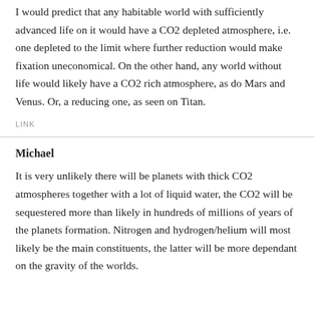I would predict that any habitable world with sufficiently advanced life on it would have a CO2 depleted atmosphere, i.e. one depleted to the limit where further reduction would make fixation uneconomical. On the other hand, any world without life would likely have a CO2 rich atmosphere, as do Mars and Venus. Or, a reducing one, as seen on Titan.
LINK
Michael
It is very unlikely there will be planets with thick CO2 atmospheres together with a lot of liquid water, the CO2 will be sequestered more than likely in hundreds of millions of years of the planets formation. Nitrogen and hydrogen/helium will most likely be the main constituents, the latter will be more dependant on the gravity of the worlds.